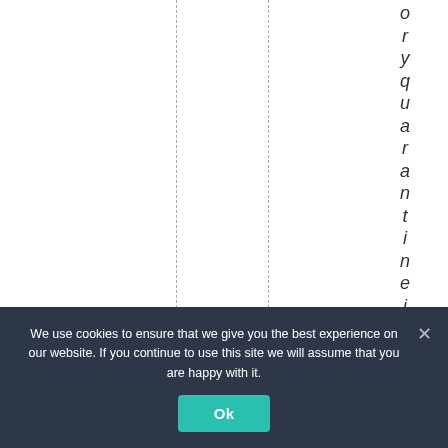oryquarantine inhots
We use cookies to ensure that we give you the best experience on our website. If you continue to use this site we will assume that you are happy with it.